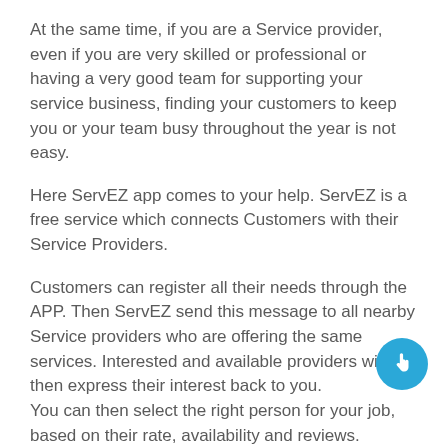At the same time, if you are a Service provider, even if you are very skilled or professional or having a very good team for supporting your service business, finding your customers to keep you or your team busy throughout the year is not easy.
Here ServEZ app comes to your help. ServEZ is a free service which connects Customers with their Service Providers.
Customers can register all their needs through the APP. Then ServEZ send this message to all nearby Service providers who are offering the same services. Interested and available providers will then express their interest back to you.
You can then select the right person for your job, based on their rate, availability and reviews.
Once you selected your service provider, you can contact them by phone, whatsapp etc. Then it is all between you